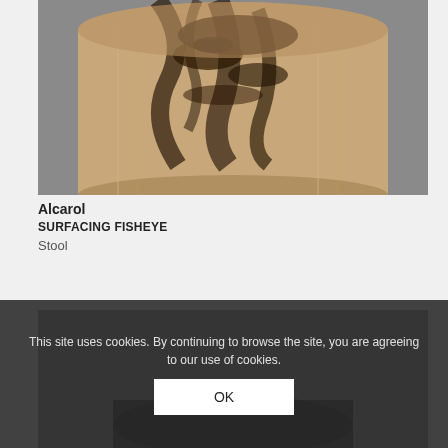[Figure (photo): Close-up photograph of a cylindrical wooden stool with heavily spalted and darkened wood grain pattern, set against a grey background. The stool shows natural wood texture with black markings throughout.]
Alcarol
SURFACING FISHEYE
Stool
[Figure (photo): Partial photograph of another product/stool on a grey background, mostly obscured by cookie consent overlay.]
This site uses cookies. By continuing to browse the site, you are agreeing to our use of cookies.
OK